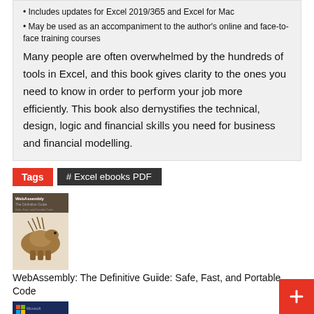• Includes updates for Excel 2019/365 and Excel for Mac
• May be used as an accompaniment to the author's online and face-to-face training courses
Many people are often overwhelmed by the hundreds of tools in Excel, and this book gives clarity to the ones you need to know in order to perform your job more efficiently. This book also demystifies the technical, design, logic and financial skills you need for business and financial modelling.
Tags
# Excel ebooks PDF
[Figure (illustration): Book cover: WebAssembly: The Definitive Guide with cartoon animal (capybara/porcupine)]
WebAssembly: The Definitive Guide: Safe, Fast, and Portable Code
[Figure (illustration): Book cover: Microsoft Excel 2019 Data Analysis and Business Modeling, dark blue with chart graphics]
Microsoft Excel 2019 Data Analysis and Business Modeling, 6